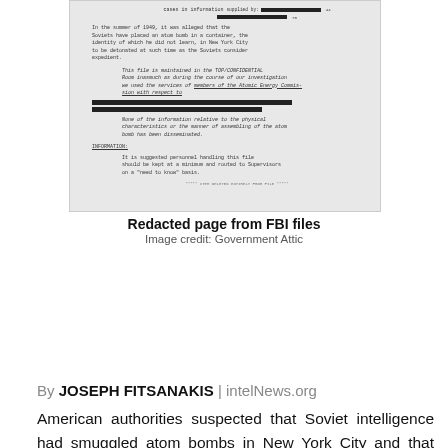[Figure (photo): Redacted page from FBI files showing typewritten text with black redaction bars covering names/details. Document visible from mid-page showing paragraphs about an atom bomb, a file maintained as confidential, and a distribution notice.]
Redacted page from FBI files
Image credit: Government Attic
By JOSEPH FITSANAKIS | intelNews.org
American authorities suspected that Soviet intelligence had smuggled atom bombs in New York City and that Moscow was planning to detonate them “at an expedient time”, according to declassified documents. The revelation comes from a set of internal FBI files, which were declassified and released in redacted form in 2010. Copies of the documents, which date from the early 1950s, were posted (.pdf) on The Government Attic, a website specializing in publishing US government files